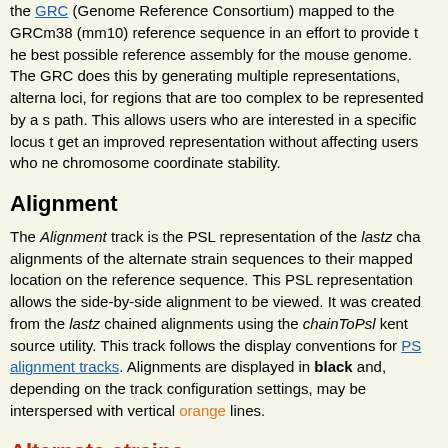the GRC (Genome Reference Consortium) mapped to the GRCm38 (mm10) reference sequence in an effort to provide the best possible reference assembly for the mouse genome. The GRC does this by generating multiple representations, alternate loci, for regions that are too complex to be represented by a single path. This allows users who are interested in a specific locus to get an improved representation without affecting users who need chromosome coordinate stability.
Alignment
The Alignment track is the PSL representation of the lastz chained alignments of the alternate strain sequences to their mapped location on the reference sequence. This PSL representation allows the side-by-side alignment to be viewed. It was created from the lastz chained alignments using the chainToPsl kent source utility. This track follows the display conventions for PSL alignment tracks. Alignments are displayed in black and, depending on the track configuration settings, may be interspersed with vertical orange lines.
Alternate strains
Items in the Alt_strains track indicate where the alternate mo...